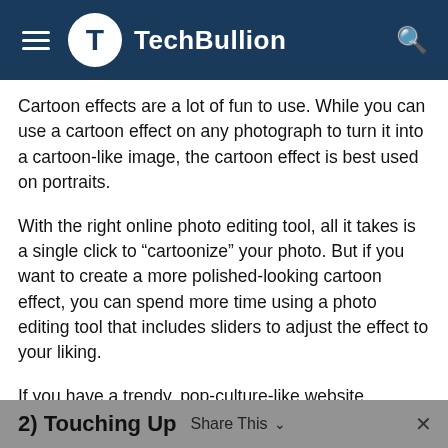TechBullion
Cartoon effects are a lot of fun to use. While you can use a cartoon effect on any photograph to turn it into a cartoon-like image, the cartoon effect is best used on portraits.
With the right online photo editing tool, all it takes is a single click to “cartoonize” your photo. But if you want to create a more polished-looking cartoon effect, you can spend more time using a photo editing tool that includes sliders to adjust the effect to your liking.
If you have a trendy, pop-culture-like website, changing headshots of the team into cartoons can work particularly well, but you can use the cartoon effect in any way that you wish.
2) Touching Up